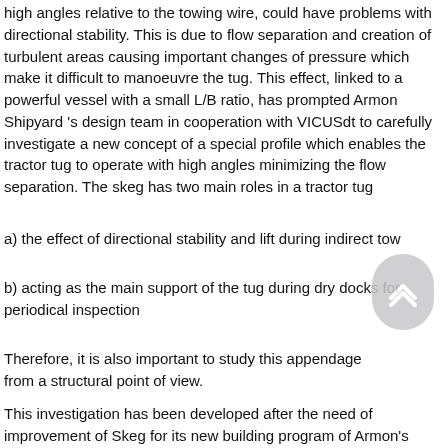high angles relative to the towing wire, could have problems with directional stability. This is due to flow separation and creation of turbulent areas causing important changes of pressure which make it difficult to manoeuvre the tug. This effect, linked to a powerful vessel with a small L/B ratio, has prompted Armon Shipyard 's design team in cooperation with VICUSdt to carefully investigate a new concept of a special profile which enables the tractor tug to operate with high angles minimizing the flow separation. The skeg has two main roles in a tractor tug
a) the effect of directional stability and lift during indirect tow
b) acting as the main support of the tug during dry docks for periodical inspection
Therefore, it is also important to study this appendage from a structural point of view.
This investigation has been developed after the need of improvement of Skeg for its new building program of Armon's latest tractor tugs and due to the owner's concern regarding